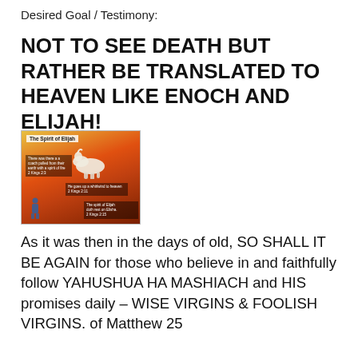Desired Goal / Testimony:
NOT TO SEE DEATH BUT RATHER BE TRANSLATED TO HEAVEN LIKE ENOCH AND ELIJAH!
[Figure (illustration): Religious illustration titled 'The Spirit of Elijah' showing a white horse and fiery imagery with text overlays on a red and golden background.]
As it was then in the days of old, SO SHALL IT BE AGAIN for those who believe in and faithfully follow YAHUSHUA HA MASHIACH and HIS promises daily – WISE VIRGINS & FOOLISH VIRGINS. of Matthew 25